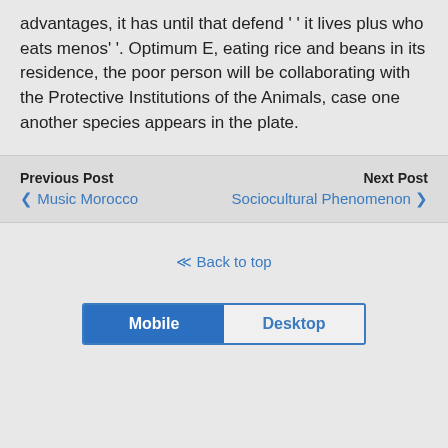advantages, it has until that defend ' ' it lives plus who eats menos' '. Optimum E, eating rice and beans in its residence, the poor person will be collaborating with the Protective Institutions of the Animals, case one another species appears in the plate.
Previous Post ❮ Music Morocco    Next Post Sociocultural Phenomenon ❯
⇪ Back to top
Mobile   Desktop